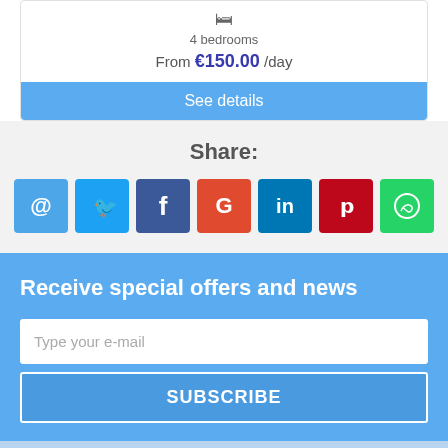4 bedrooms
From €150.00 /day
See details
Share:
[Figure (infographic): Social sharing icons: email (@), Twitter, Facebook, Google+, LinkedIn, Pinterest, WhatsApp]
Receive special offers and news
Type your e-mail
SUBSCRIBE
The cookies allow us to offer our services. When using our services you also accept the use of the cookies.
ACCEPT
More information